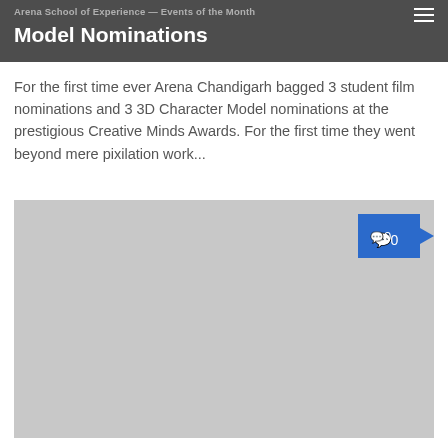Arena School of Experience — Events of the Month
Model Nominations
For the first time ever Arena Chandigarh bagged 3 student film nominations and 3 3D Character Model nominations at the prestigious Creative Minds Awards. For the first time they went beyond mere pixilation work...
[Figure (photo): Gray placeholder image area with a blue comment badge showing '0' in top-right corner]